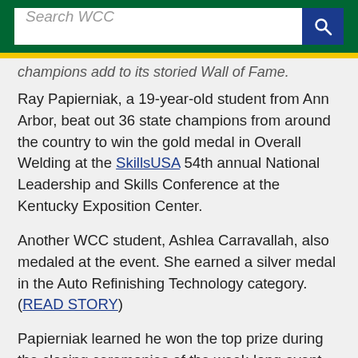Search WCC
champions add to its storied Wall of Fame.
Ray Papierniak, a 19-year-old student from Ann Arbor, beat out 36 state champions from around the country to win the gold medal in Overall Welding at the SkillsUSA 54th annual National Leadership and Skills Conference at the Kentucky Exposition Center.
Another WCC student, Ashlea Carravallah, also medaled at the event. She earned a silver medal in the Auto Refinishing Technology category. (READ STORY)
Papierniak learned he won the top prize during the closing ceremonies of the week-long event on